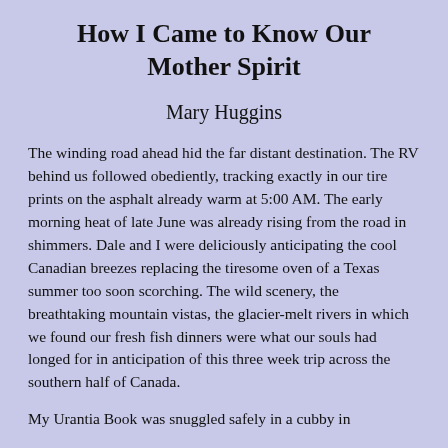How I Came to Know Our Mother Spirit
Mary Huggins
The winding road ahead hid the far distant destination. The RV behind us followed obediently, tracking exactly in our tire prints on the asphalt already warm at 5:00 AM. The early morning heat of late June was already rising from the road in shimmers. Dale and I were deliciously anticipating the cool Canadian breezes replacing the tiresome oven of a Texas summer too soon scorching. The wild scenery, the breathtaking mountain vistas, the glacier-melt rivers in which we found our fresh fish dinners were what our souls had longed for in anticipation of this three week trip across the southern half of Canada.
My Urantia Book was snuggled safely in a cubby in